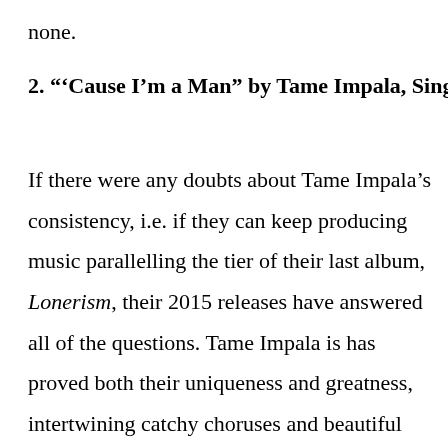none.
2. “‘Cause I’m a Man” by Tame Impala, Single
If there were any doubts about Tame Impala’s consistency, i.e. if they can keep producing music parallelling the tier of their last album, Lonerism, their 2015 releases have answered all of the questions. Tame Impala is has proved both their uniqueness and greatness, intertwining catchy choruses and beautiful psychedelic production to create masterpieces and continue advancing their